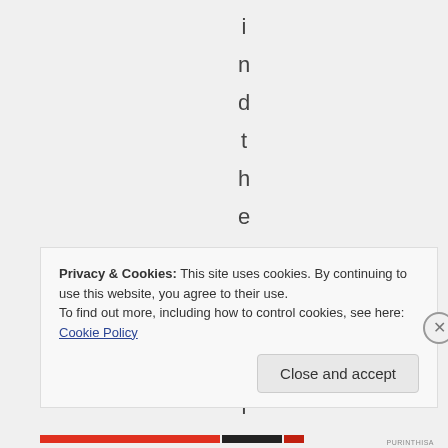[Figure (other): Vertical text spelling out 'indthembasi' with each letter on its own line, centered, on a light gray background]
Privacy & Cookies: This site uses cookies. By continuing to use this website, you agree to their use.
To find out more, including how to control cookies, see here: Cookie Policy
Close and accept